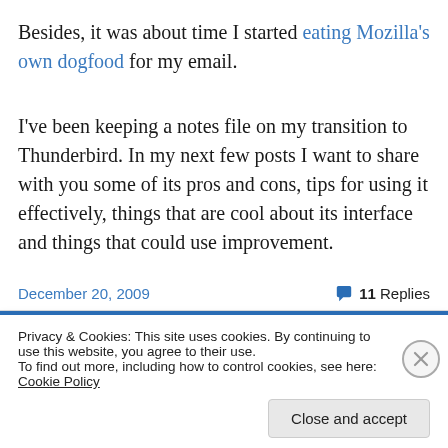Besides, it was about time I started eating Mozilla's own dogfood for my email.
I've been keeping a notes file on my transition to Thunderbird. In my next few posts I want to share with you some of its pros and cons, tips for using it effectively, things that are cool about its interface and things that could use improvement.
December 20, 2009   💬 11 Replies
Privacy & Cookies: This site uses cookies. By continuing to use this website, you agree to their use. To find out more, including how to control cookies, see here: Cookie Policy